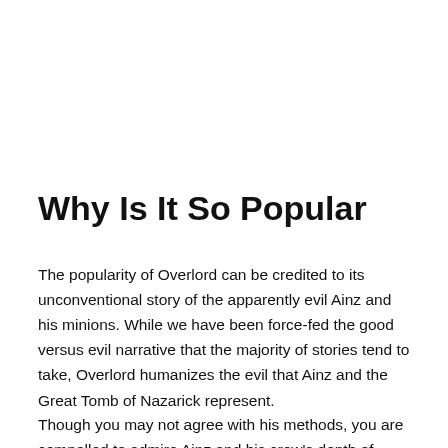Why Is It So Popular
The popularity of Overlord can be credited to its unconventional story of the apparently evil Ainz and his minions. While we have been force-fed the good versus evil narrative that the majority of stories tend to take, Overlord humanizes the evil that Ainz and the Great Tomb of Nazarick represent.
Though you may not agree with his methods, you are compelled to admire Ainz and his crew's depth of humanity.